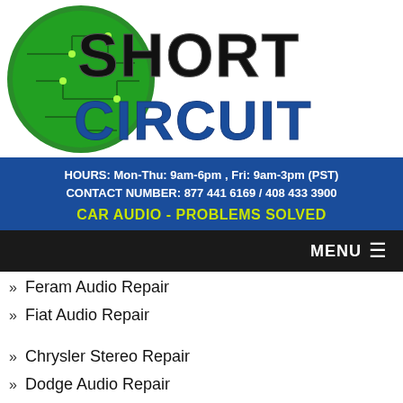[Figure (logo): Short Circuit Car Audio Repair logo with green circuit-board globe and bold text]
HOURS: Mon-Thu: 9am-6pm , Fri: 9am-3pm (PST)
CONTACT NUMBER: 877 441 6169 / 408 433 3900
CAR AUDIO - PROBLEMS SOLVED
MENU
» Feram Audio Repair
» Fiat Audio Repair
» Chrysler Stereo Repair
» Dodge Audio Repair
» Ford Stereo Repair
» GM Audio Repair
» Honda Stereo Repair
» Hummer Audio Repair
» Hyundai Audio Repair